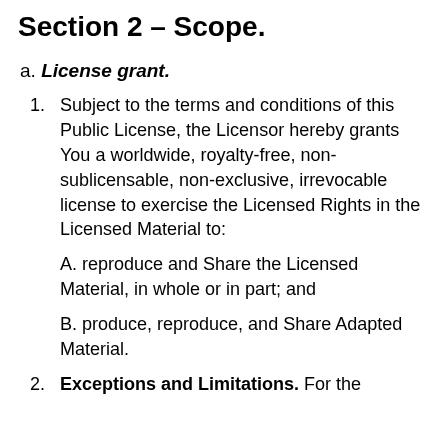Section 2 – Scope.
a. License grant.
1. Subject to the terms and conditions of this Public License, the Licensor hereby grants You a worldwide, royalty-free, non-sublicensable, non-exclusive, irrevocable license to exercise the Licensed Rights in the Licensed Material to:
A. reproduce and Share the Licensed Material, in whole or in part; and
B. produce, reproduce, and Share Adapted Material.
2. Exceptions and Limitations. For the